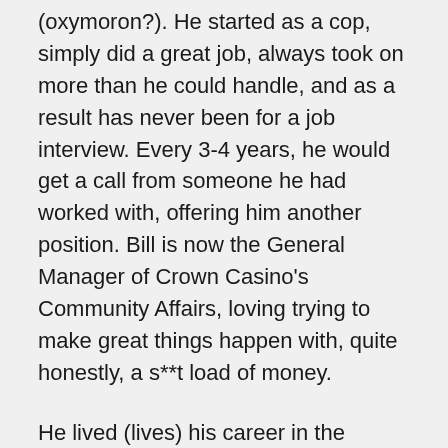(oxymoron?). He started as a cop, simply did a great job, always took on more than he could handle, and as a result has never been for a job interview. Every 3-4 years, he would get a call from someone he had worked with, offering him another position. Bill is now the General Manager of Crown Casino's Community Affairs, loving trying to make great things happen with, quite honestly, a s**t load of money.
He lived (lives) his career in the moment, and is 'on fire' in the Melbourne Community. I have, since meeting Bill, tried to live a my life a similar way. This blog title, The Squiggly Line, denotes a life and career that are one and the same. One that doesn't